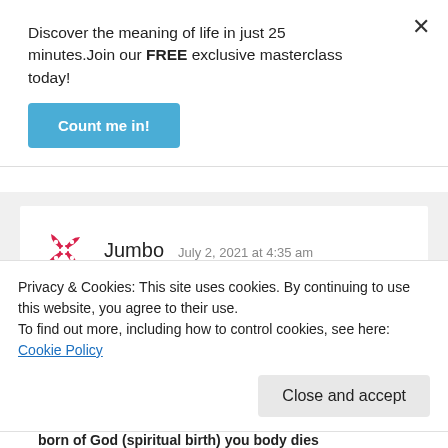Discover the meaning of life in just 25 minutes.Join our FREE exclusive masterclass today!
Count me in!
Jumbo   July 2, 2021 at 4:35 am
Most of what he wrote does not make sense and is not Biblical at all, our souls are Eternal, and we must be born-again or born of God to inherit eternal life if we reject
Privacy & Cookies: This site uses cookies. By continuing to use this website, you agree to their use.
To find out more, including how to control cookies, see here: Cookie Policy
Close and accept
born of God (spiritual birth) you body dies